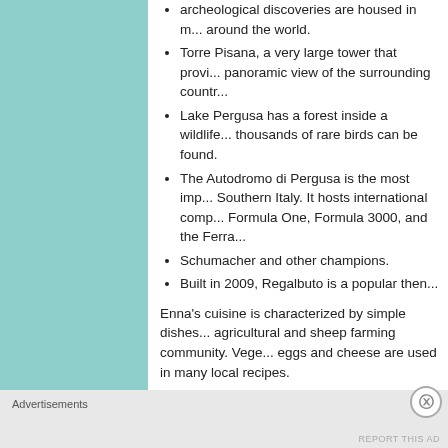archeological discoveries are housed in m... around the world.
Torre Pisana, a very large tower that provi... panoramic view of the surrounding countr...
Lake Pergusa has a forest inside a wildlife... thousands of rare birds can be found.
The Autodromo di Pergusa is the most imp... Southern Italy. It hosts international comp... Formula One, Formula 3000, and the Ferra...
Schumacher and other champions.
Built in 2009, Regalbuto is a popular then...
Enna's cuisine is characterized by simple dishes... agricultural and sheep farming community. Vege... eggs and cheese are used in many local recipes.
Pastas with mashed beans, cauliflower, broccoli... are common. Wild asparagus are a great loca...
Advertisements